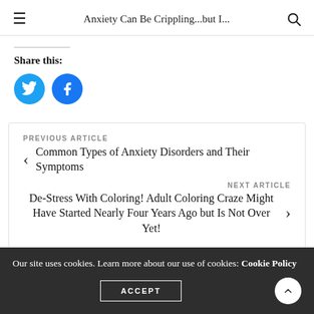Anxiety Can Be Crippling...but I...
Share this:
PREVIOUS ARTICLE
Common Types of Anxiety Disorders and Their Symptoms
NEXT ARTICLE
De-Stress With Coloring! Adult Coloring Craze Might Have Started Nearly Four Years Ago but Is Not Over Yet!
0
Our site uses cookies. Learn more about our use of cookies: Cookie Policy
ACCEPT